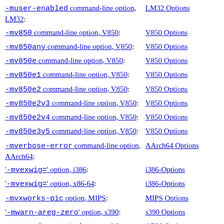-muser-enabled command-line option, LM32: | LM32 Options
-mv850 command-line option, V850: | V850 Options
-mv850any command-line option, V850: | V850 Options
-mv850e command-line option, V850: | V850 Options
-mv850e1 command-line option, V850: | V850 Options
-mv850e2 command-line option, V850: | V850 Options
-mv850e2v3 command-line option, V850: | V850 Options
-mv850e2v4 command-line option, V850: | V850 Options
-mv850e3v5 command-line option, V850: | V850 Options
-mverbose-error command-line option, AArch64: | AArch64 Options
'-mvexwig=' option, i386: | i386-Options
'-mvexwig=' option, x86-64: | i386-Options
-mvxworks-pic option, MIPS: | MIPS Options
'-mwarn-areg-zero' option, s390: | s390 Options
-mwarn-deprecated command-line option, ARM: | ARM Options